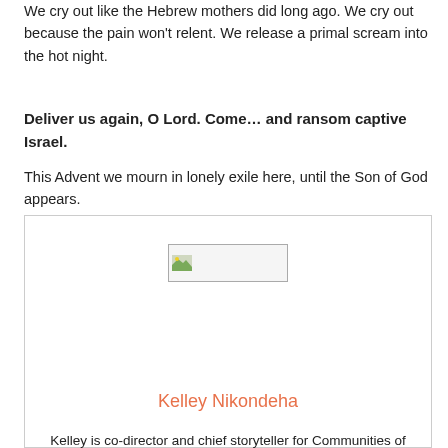We cry out like the Hebrew mothers did long ago. We cry out because the pain won't relent. We release a primal scream into the hot night.
Deliver us again, O Lord. Come… and ransom captive Israel.
This Advent we mourn in lonely exile here, until the Son of God appears.
[Figure (photo): Broken image placeholder inside an author bio box]
Kelley Nikondeha
Kelley is co-director and chief storyteller for Communities of Hope, a community development enterprise in Burundi. She is also the author of